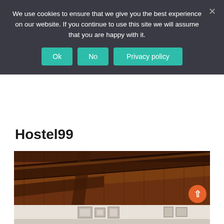We use cookies to ensure that we give you the best experience on our website. If you continue to use this site we will assume that you are happy with it.
Ok | No | Privacy policy
Hostel99
[Figure (photo): Photograph of a rustic wooden beam ceiling, viewed from below, showing carved and weathered wooden beams in warm brown tones]
[Figure (photo): Partial view of a hostel room interior with light walls and framed pictures]